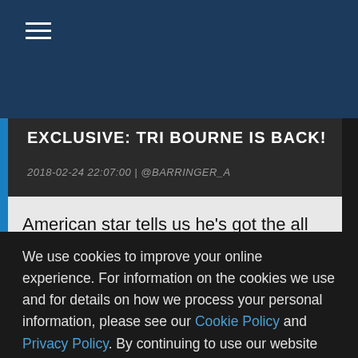EXCLUSIVE: TRI BOURNE IS BACK!
2018-02-24 22:07:00 | @BARRINGER_A
American star tells us he's got the all clear to make a comeback
We use cookies to improve your online experience. For information on the cookies we use and for details on how we process your personal information, please see our Cookie Policy and Privacy Policy. By continuing to use our website you consent to us using cookies.
Accept